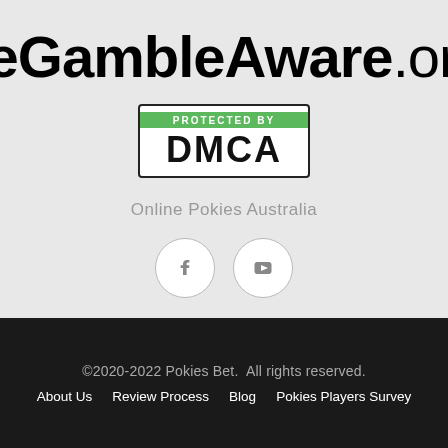[Figure (logo): BeGambleAware.org logo with registered trademark symbol, large bold black text on light grey background]
[Figure (logo): DMCA Protected badge: green bar reading 'PROTECTED BY' above large bold 'DMCA' text, in a black-bordered white box]
Online Pokies Australia
[Figure (other): Two circular social media icon buttons: Facebook (f logo) and YouTube (play button), grey outlined circles on grey background]
©2020-2022 Pokies Bet.  All rights reserved.
About Us    Review Process    Blog    Pokies Players Survey